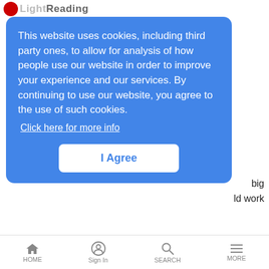Light Reading
This website uses cookies, including third party ones, to allow for analysis of how people use our website in order to improve your experience and our services. By continuing to use our website, you agree to the use of such cookies. Click here for more info
I Agree
big
ld work
ns
SPONSORED: Successful investment and execution strategies in this distributed world will hinge on the ability to integrate a flexible mix of fixed, virtualized and containerized multi-interface solutions at the edge.
SpaceMobile's 5G from space touted as 'a game changer'
News Analysis | 11/3/2020
HOME  Sign In  SEARCH  MORE